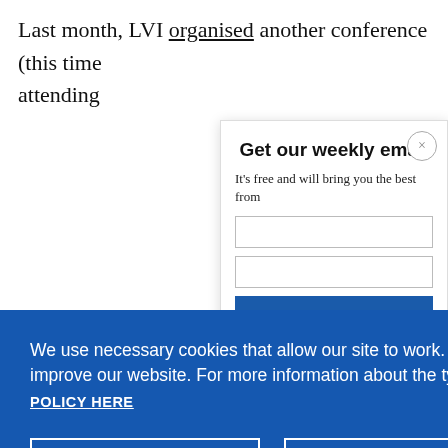Last month, LVI organised another conference (this time attending
Get our weekly email
It's free and will bring you the best from
We use necessary cookies that allow our site to work. We also set optional cookies that help us improve our website. For more information about the types of cookies we use. READ OUR COOKIES POLICY HERE
COOKIE SETTINGS
ALLOW ALL COOKIES
data.
illegally